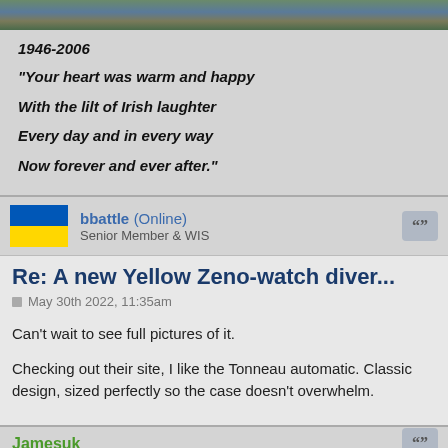[Figure (photo): Cropped top portion of a photo showing green and blue tones, partially visible]
1946-2006
"Your heart was warm and happy

With the lilt of Irish laughter

Every day and in every way

Now forever and ever after."
bbattle (Online)
Senior Member & WIS
Re: A new Yellow Zeno-watch diver...
May 30th 2022, 11:35am
Can't wait to see full pictures of it.

Checking out their site, I like the Tonneau automatic. Classic design, sized perfectly so the case doesn't overwhelm.
Jamesuk